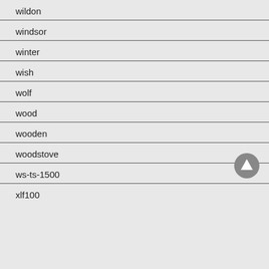wildon
windsor
winter
wish
wolf
wood
wooden
woodstove
ws-ts-1500
xlf100